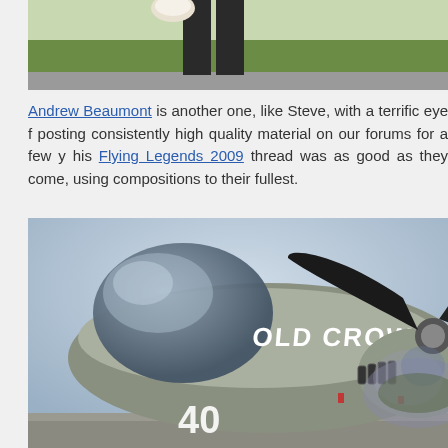[Figure (photo): Partial top image showing a person's lower body and legs near an aircraft on grass airfield, cropped at top of page]
Andrew Beaumont is another one, like Steve, with a terrific eye f... posting consistently high quality material on our forums for a few y... his Flying Legends 2009 thread was as good as they come, using... compositions to their fullest.
[Figure (photo): Close-up photograph of a P-51 Mustang warbird aircraft named 'Old Crow', showing the cockpit canopy, fuselage nose, and spinning propeller blades, with another aircraft blurred in the background]